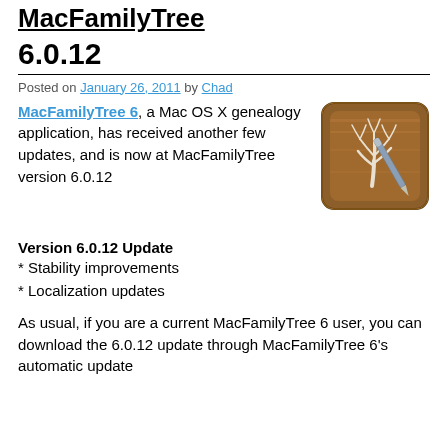MacFamilyTree
6.0.12
Posted on January 26, 2011 by Chad
[Figure (illustration): MacFamilyTree 6 application icon — a brown wooden square with a white tree and a stylus/pen]
MacFamilyTree 6, a Mac OS X genealogy application, has received another few updates, and is now at MacFamilyTree version 6.0.12
Version 6.0.12 Update
* Stability improvements
* Localization updates
As usual, if you are a current MacFamilyTree 6 user, you can download the 6.0.12 update through MacFamilyTree 6's automatic update